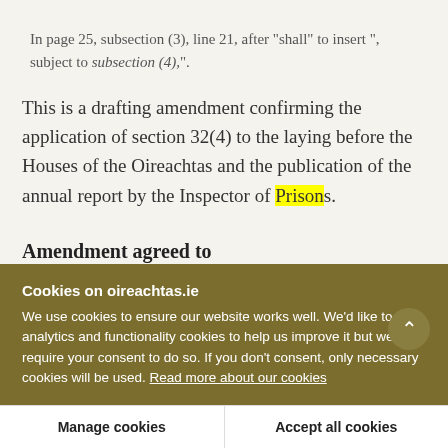In page 25, subsection (3), line 21, after "shall" to insert ", subject to subsection (4),".
This is a drafting amendment confirming the application of section 32(4) to the laying before the Houses of the Oireachtas and the publication of the annual report by the Inspector of Prisons.
Amendment agreed to
Cookies on oireachtas.ie
We use cookies to ensure our website works well. We'd like to use analytics and functionality cookies to help us improve it but we require your consent to do so. If you don't consent, only necessary cookies will be used. Read more about our cookies
Manage cookies
Accept all cookies